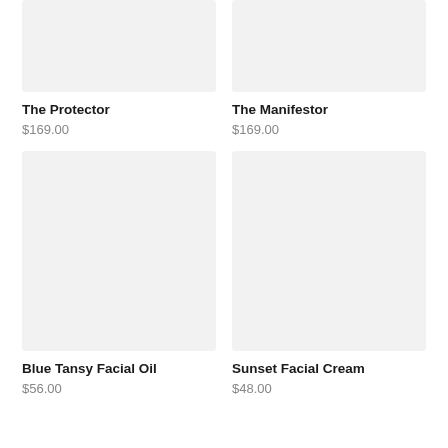[Figure (photo): Product image placeholder for The Protector - light gray rectangle]
The Protector
$169.00
[Figure (photo): Product image placeholder for The Manifestor - light gray rectangle]
The Manifestor
$169.00
[Figure (photo): Product image placeholder for Blue Tansy Facial Oil - light gray rectangle]
Blue Tansy Facial Oil
$56.00
[Figure (photo): Product image placeholder for Sunset Facial Cream - light gray rectangle]
Sunset Facial Cream
$48.00